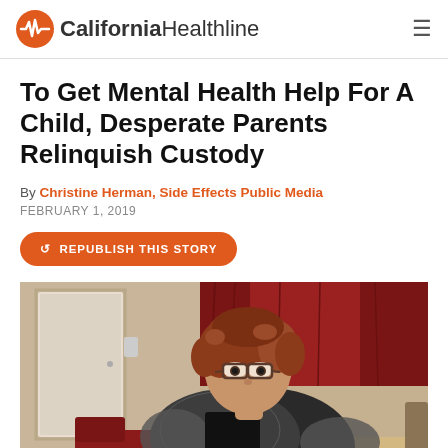California Healthline
To Get Mental Health Help For A Child, Desperate Parents Relinquish Custody
By Christine Herman, Side Effects Public Media
FEBRUARY 1, 2019
REPUBLISH THIS STORY
[Figure (photo): A woman with reddish-brown curly hair and glasses wearing a black and white patterned top, sitting indoors with red curtains and a door visible in the background, looking downward.]